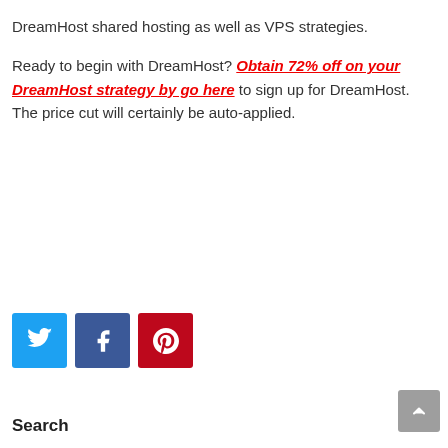DreamHost shared hosting as well as VPS strategies.
Ready to begin with DreamHost? Obtain 72% off on your DreamHost strategy by go here to sign up for DreamHost. The price cut will certainly be auto-applied.
[Figure (infographic): Three social share buttons: Twitter (cyan), Facebook (dark blue), Pinterest (red)]
Search